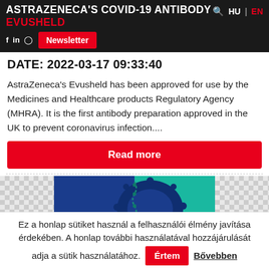ASTRAZENECA'S COVID-19 ANTIBODY EVUSHELD
DATE: 2022-03-17 09:33:40
AstraZeneca's Evusheld has been approved for use by the Medicines and Healthcare products Regulatory Agency (MHRA). It is the first antibody preparation approved in the UK to prevent coronavirus infection....
Read more
[Figure (illustration): Illustration of COVID-19 coronavirus particle on blue and teal background]
Ez a honlap sütiket használ a felhasználói élmény javítása érdekében. A honlap további használatával hozzájárulását adja a sütik használatához. Értem Bővebben